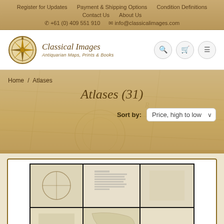Register for Updates | Payment & Shipping Options | Condition Definitions | Contact Us | About Us | +61 (0) 409 551 910 | info@classicalimages.com
[Figure (logo): Classical Images logo with compass rose and text: Antiquarian Maps, Prints & Books]
Sort by: Price, high to low
Atlases (31)
Home / Atlases
[Figure (photo): Grid of antiquarian atlas book photographs showing open pages with maps and text]